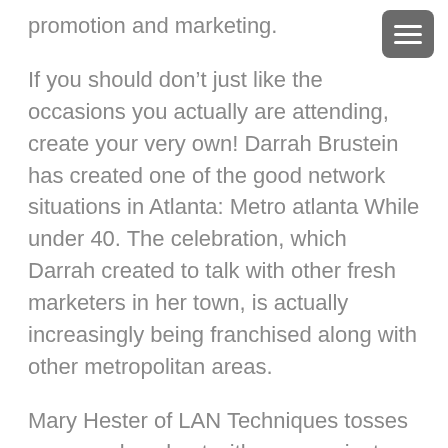promotion and marketing.
If you should don’t just like the occasions you actually are attending, create your very own! Darrah Brustein has created one of the good network situations in Atlanta: Metro atlanta While under 40. The celebration, which Darrah created to talk with other fresh marketers in her town, is actually increasingly being franchised along with other metropolitan areas.
Mary Hester of LAN Techniques tosses an annual cookout with purpose just about every World Daytime. Celebration-goers should bring their “e-use up”–ancient laptop computer watches and CPUs. At their most recent incident they accumulated much more than two plenty of IT items, making it from the trash dumps and building